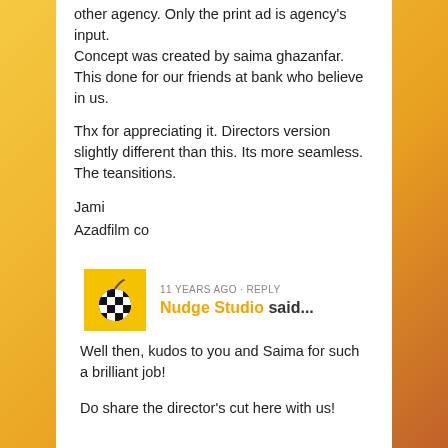other agency. Only the print ad is agency's input.
Concept was created by saima ghazanfar. This done for our friends at bank who believe in us.
Thx for appreciating it. Directors version slightly different than this. Its more seamless. The teansitions.
Jami
Azadfilm co
11 YEARS AGO · REPLY
Nudge Studio said...
Well then, kudos to you and Saima for such a brilliant job!

Do share the director's cut here with us!